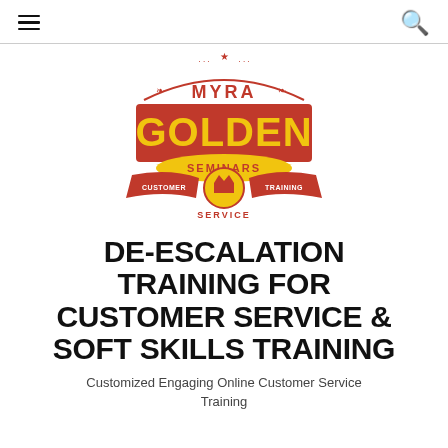≡  🔍
[Figure (logo): Myra Golden Seminars logo — red and yellow badge-style logo with 'MYRA' at top, 'GOLDEN' in large yellow letters on red banner, 'SEMINARS' on yellow arc below, crown emblem in center circle, banner ribbons reading 'CUSTOMER SERVICE' and 'TRAINING']
DE-ESCALATION TRAINING FOR CUSTOMER SERVICE & SOFT SKILLS TRAINING
Customized Engaging Online Customer Service Training